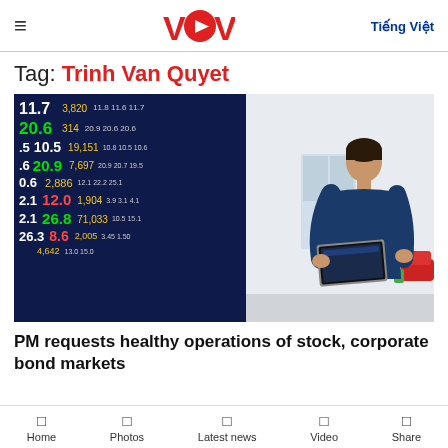VOV - Tiếng Việt
Tag: Trinh Van Quyet
[Figure (photo): Stock market display board with green and red numbers, and a man in a blue shirt holding a laptop in an office setting]
PM requests healthy operations of stock, corporate bond markets
Home | Photos | Latest news | Video | Share